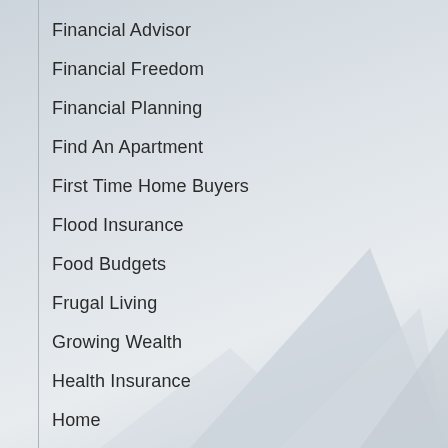Financial Advisor
Financial Freedom
Financial Planning
Find An Apartment
First Time Home Buyers
Flood Insurance
Food Budgets
Frugal Living
Growing Wealth
Health Insurance
Home
Home Buying